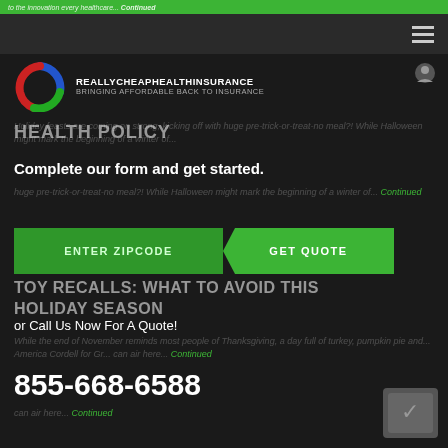to the innovation every healthcare... Continued
[Figure (logo): ReallyChapHealthInsurance logo with circular swoosh in red, blue, green]
REALLYCHEAPHEALTHINSURANCE — BRINGING AFFORDABLE BACK TO INSURANCE
HEALTH POLICY
Holiday feasts are coming on strong, kicking off with... Complete our form and get started. ...huge pre-trick-or-treat-no meal?! While Halloween might mark the beginning of a winter of... Continued
ENTER ZIPCODE    GET QUOTE
TOY RECALLS: WHAT TO AVOID THIS HOLIDAY SEASON
or Call Us Now For A Quote!
While the end of November reminds most people of Thanksgiving, a day full of turkey, pumpkin pie and... America Cordell for Gr... can air here... Continued
855-668-6588